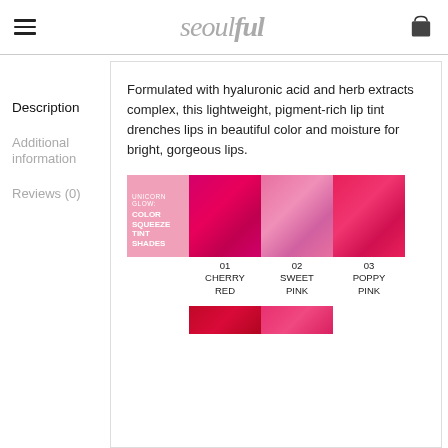seoulful
Description
Additional information
Reviews (0)
Formulated with hyaluronic acid and herb extracts complex, this lightweight, pigment-rich lip tint drenches lips in beautiful color and moisture for bright, gorgeous lips.
[Figure (photo): Color swatch display of Unicorn Glow Color Squeeze Tint Shades: intro label swatch in pink, followed by shade 01 CHERRY RED (deep magenta), shade 02 SWEET PINK (soft pink), shade 03 POPPY PINK (hot pink/red). A second partial row of swatches is visible at the bottom.]